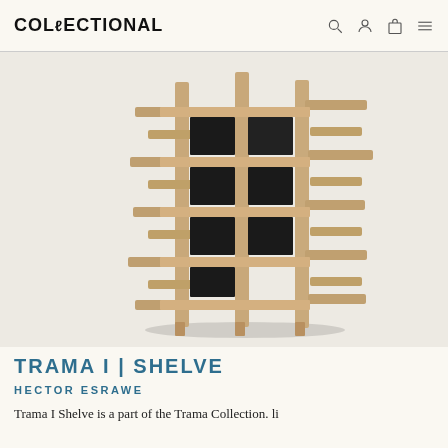COLLECTIONAL
[Figure (photo): A tall sculptural wooden shelving unit called Trama I Shelve, made of intersecting natural wood slats arranged in a grid pattern with black rectangular panels filling some compartments, photographed against a light grey-white background.]
TRAMA I | SHELVE
HECTOR ESRAWE
Trama I Shelve is a part of the Trama Collection. li